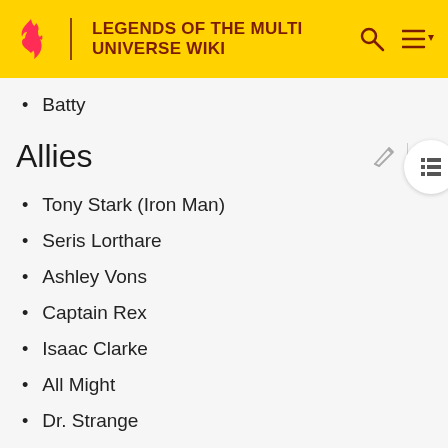LEGENDS OF THE MULTI UNIVERSE WIKI
Batty
Allies
Tony Stark (Iron Man)
Seris Lorthare
Ashley Vons
Captain Rex
Isaac Clarke
All Might
Dr. Strange
Josuke Higashikata
Okuyasu Nijimura
Ruby Rose